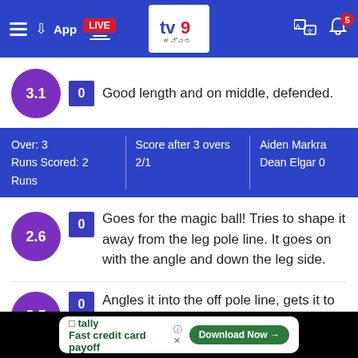[Figure (screenshot): TV9 Kannada news app header with hamburger menu, App download, LIVE badge, TV9 logo, translate and notification icons]
3.1  0  Good length and on middle, defended.
Over: 3  Runs Scored: 2 Runs  |  Score after 3 overs 2/1  |  Aiden Markra  Dean Elgar 0
2.6  0  Goes for the magic ball! Tries to shape it away from the leg pole line. It goes on with the angle and down the leg side.
2.5  0  Angles it into the off pole line, gets it to land and leave but the line is wide enough for the batter to not have a poke at it.
[Figure (screenshot): Tally advertisement banner: Fast credit card payoff, Download Now button]